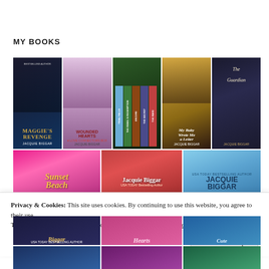MY BOOKS
[Figure (photo): Grid of book covers by Jacquie Biggar: Maggie's Revenge, Wounded Hearts (Love Connectors Box Set), Tidal Falls / The Rebel's Redemption / Encore / The Secret / (boxset spines), My Baby Wrote Me a Letter, The Guardian]
[Figure (photo): Grid of book covers by Jacquie Biggar: Sunset Beach (Blue Haven), Jacquie Biggar (USA Today Bestselling Author - red cover with man), Jacquie Biggar (USA Today Bestselling Author - blue sky cover)]
Privacy & Cookies: This site uses cookies. By continuing to use this website, you agree to their use.
To find out more, including how to control cookies, see here: Cookie Policy
Close and accept
[Figure (photo): Partially visible bottom row of book covers (partially cut off)]
[Figure (photo): Partially visible last row of book covers (barely visible at bottom)]